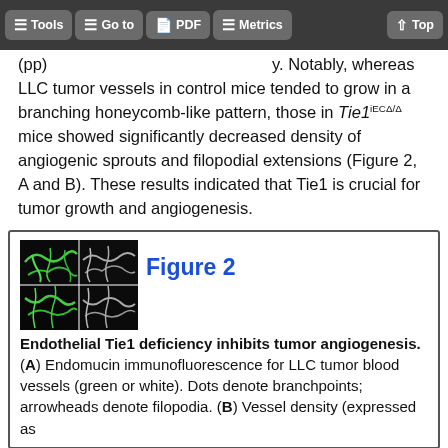Tools  Go to  PDF  Metrics  Top
(...) Notably, whereas LLC tumor vessels in control mice tended to grow in a branching honeycomb-like pattern, those in Tie1iECΔ/Δ mice showed significantly decreased density of angiogenic sprouts and filopodial extensions (Figure 2, A and B). These results indicated that Tie1 is crucial for tumor growth and angiogenesis.
[Figure (photo): Thumbnail images of LLC tumor blood vessel immunofluorescence microscopy (green/white channel), showing branching vessel patterns in a 2x2 grid arrangement]
Figure 2 Endothelial Tie1 deficiency inhibits tumor angiogenesis. (A) Endomucin immunofluorescence for LLC tumor blood vessels (green or white). Dots denote branchpoints; arrowheads denote filopodia. (B) Vessel density (expressed as